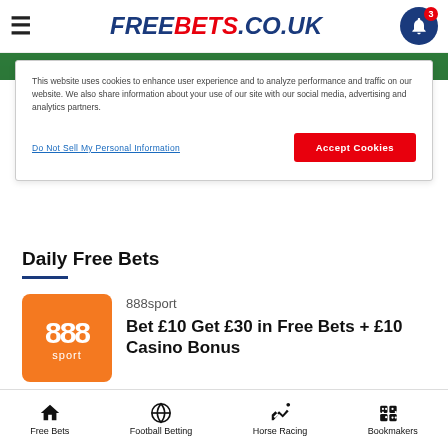FREEBETS.CO.UK
This website uses cookies to enhance user experience and to analyze performance and traffic on our website. We also share information about your use of our site with our social media, advertising and analytics partners.
Do Not Sell My Personal Information
Accept Cookies
Daily Free Bets
888sport
Bet £10 Get £30 in Free Bets + £10 Casino Bonus
claim
Free Bets | Football Betting | Horse Racing | Bookmakers